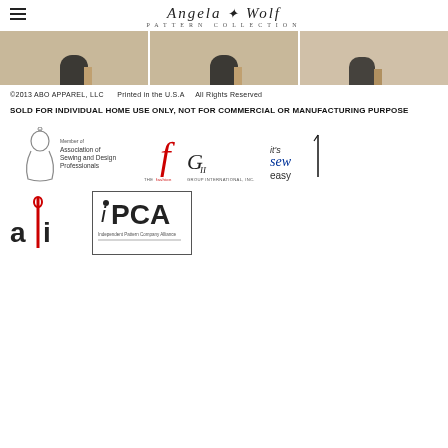Angela Wolf PATTERN COLLECTION
[Figure (photo): Three cropped photos showing feet/shoes of models wearing fashion garments]
©2013 ABO APPAREL, LLC    Printed in the U.S.A    All Rights Reserved
SOLD FOR INDIVIDUAL HOME USE ONLY, NOT FOR COMMERCIAL OR MANUFACTURING PURPOSE
[Figure (logo): Association of Sewing and Design Professionals logo]
[Figure (logo): The Fashion Group International, Inc. logo]
[Figure (logo): It's Sew Easy logo]
[Figure (logo): ABI logo with red needle]
[Figure (logo): iPCA Independent Pattern Company Alliance logo]